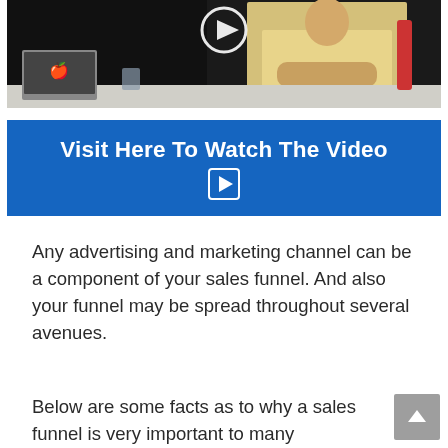[Figure (screenshot): Video thumbnail showing a man in a yellow shirt sitting at a desk with a laptop, dark background, with a play button icon overlay at the top center]
[Figure (other): Blue banner button with white bold text 'Visit Here To Watch The Video' and a small white play button icon below the text]
Any advertising and marketing channel can be a component of your sales funnel. And also your funnel may be spread throughout several avenues.
Below are some facts as to why a sales funnel is very important to many